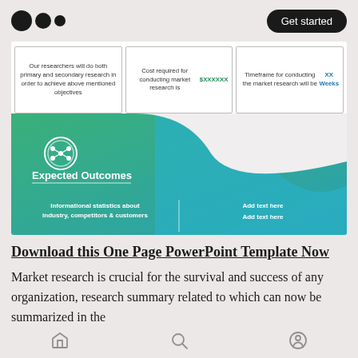Medium logo and Get started button
[Figure (infographic): Market research infographic showing three info boxes: (1) Our researchers will do both primary and secondary research in order to achieve above mentioned objectives, (2) Cost required for conducting market research is $XXXXXX, (3) Timeframe for conducting the market research will be XX Weeks. Below is an Expected Outcomes section with a green-to-teal wave background, a circular icon, text reading Expected Outcomes, and two columns: Informational statistics about industry, competitors & customers | Add text here / Add text here.]
Download this One Page PowerPoint Template Now
Market research is crucial for the survival and success of any organization, research summary related to which can now be summarized in the